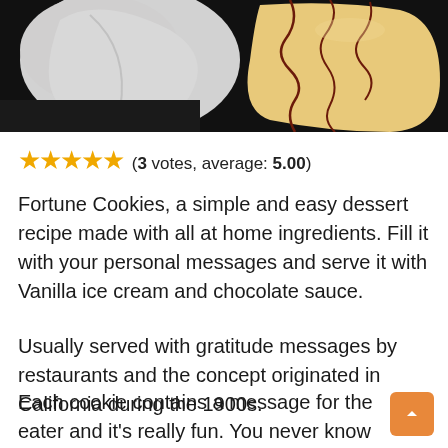[Figure (photo): Photo of fortune cookies and vanilla ice cream with chocolate sauce drizzle on a dark background]
★★★★★ (3 votes, average: 5.00)
Fortune Cookies, a simple and easy dessert recipe made with all at home ingredients. Fill it with your personal messages and serve it with Vanilla ice cream and chocolate sauce.
Usually served with gratitude messages by restaurants and the concept originated in California during the 1900s.
Each cookie contains a message for the eater and it's really fun. You never know what you are gonna get in there. It can be a good luck message or gratitude from them.